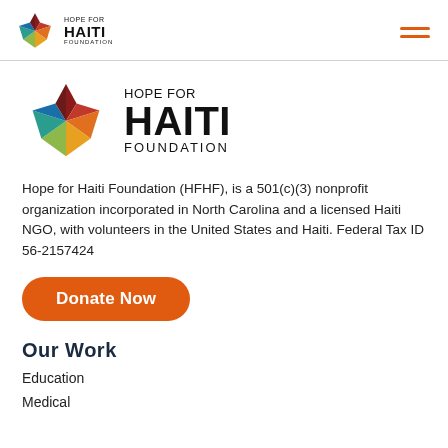HOPE FOR HAITI FOUNDATION
[Figure (logo): Hope for Haiti Foundation star logo with colored segments (red, dark red, orange, yellow, green, teal, blue) and text 'HOPE FOR HAITI FOUNDATION']
Hope for Haiti Foundation (HFHF), is a 501(c)(3) nonprofit organization incorporated in North Carolina and a licensed Haiti NGO, with volunteers in the United States and Haiti. Federal Tax ID 56-2157424
Donate Now
Our Work
Education
Medical